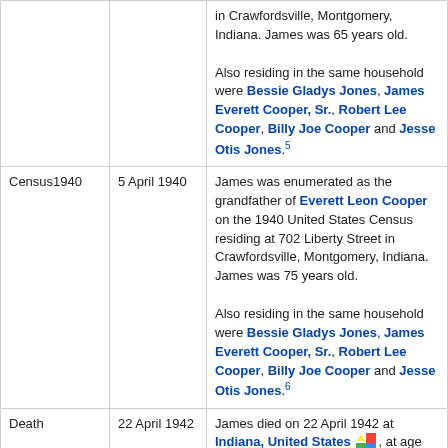| Event | Date | Details |
| --- | --- | --- |
|  |  | in Crawfordsville, Montgomery, Indiana. James was 65 years old.

Also residing in the same household were Bessie Gladys Jones, James Everett Cooper, Sr., Robert Lee Cooper, Billy Joe Cooper and Jesse Otis Jones.5 |
| Census1940 | 5 April 1940 | James was enumerated as the grandfather of Everett Leon Cooper on the 1940 United States Census residing at 702 Liberty Street in Crawfordsville, Montgomery, Indiana. James was 75 years old.

Also residing in the same household were Bessie Gladys Jones, James Everett Cooper, Sr., Robert Lee Cooper, Billy Joe Cooper and Jesse Otis Jones.6 |
| Death | 22 April 1942 | James died on 22 April 1942 at Indiana, United States [map icon], at age 77.2 |
| Burial | April 1942 | He was buried in April 1942 in Jamestown IOOF Cemetery at Jamestown, Boone, Indiana, United States.

Find A Grave Memorial Link.2 |
Children of James Bailey (Poppy) Jones and Candiece (Kansas) Canada
James Manson Lee (Mank) Jones+ b. 13 Jun 1886, d. 18 Dec 1948